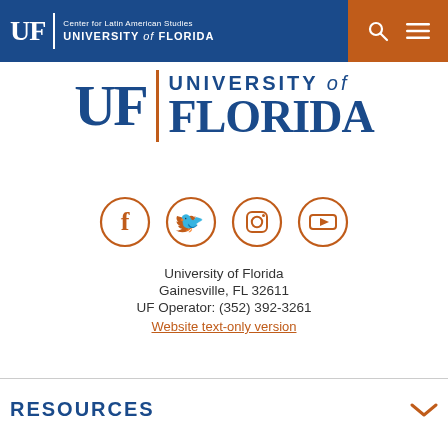UF | Center for Latin American Studies UNIVERSITY of FLORIDA
[Figure (logo): University of Florida logo with UF block letters, vertical orange bar, and 'UNIVERSITY of FLORIDA' text in blue]
[Figure (infographic): Four social media icons in orange circles: Facebook, Twitter, Instagram, YouTube]
University of Florida
Gainesville, FL 32611
UF Operator: (352) 392-3261
Website text-only version
RESOURCES